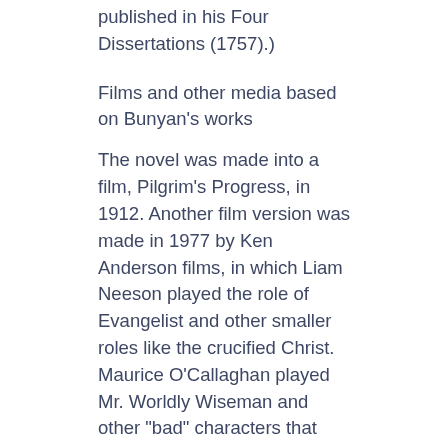published in his Four Dissertations (1757).)
Films and other media based on Bunyan's works
The novel was made into a film, Pilgrim's Progress, in 1912. Another film version was made in 1977 by Ken Anderson films, in which Liam Neeson played the role of Evangelist and other smaller roles like the crucified Christ. Maurice O'Callaghan played Mr. Worldly Wiseman and other "bad" characters that met Christian in his journey. A sequel Christiana followed in 1979. A version by Danny Carrales was produced in 2008.
In 1950 an hour-long animated version was made by Baptista Films. This version was edited down to 35 minutes and re-released with new music in 1978. As of 2007 the original version is difficult to